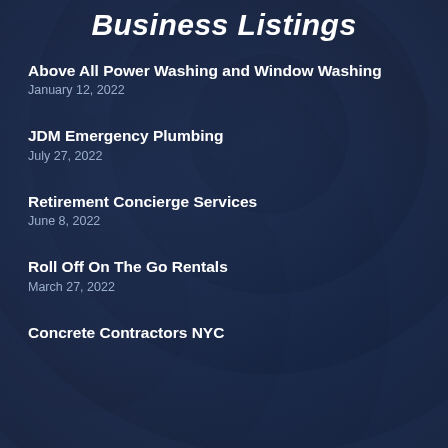Business Listings
Above All Power Washing and Window Washing
January 12, 2022
JDM Emergency Plumbing
July 27, 2022
Retirement Concierge Services
June 8, 2022
Roll Off On The Go Rentals
March 27, 2022
Concrete Contractors NYC